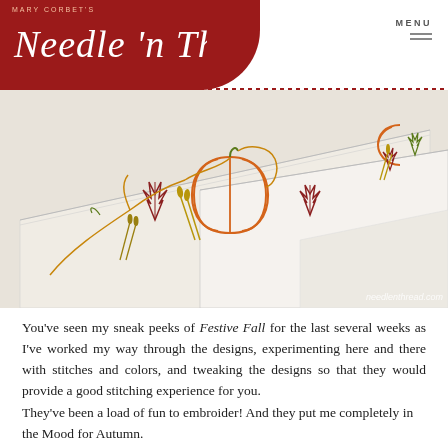MARY CORBET'S Needle 'n Thread | MENU
[Figure (photo): Close-up photo of white linen napkins/tablecloth with autumn embroidery featuring pumpkins, maple leaves, and wheat stalks in orange, red, gold, and green thread. Watermark reads needlenthread.com]
You’ve seen my sneak peeks of Festive Fall for the last several weeks as I’ve worked my way through the designs, experimenting here and there with stitches and colors, and tweaking the designs so that they would provide a good stitching experience for you.
They’ve been a load of fun to embroider! And they put me completely in the Mood for Autumn.